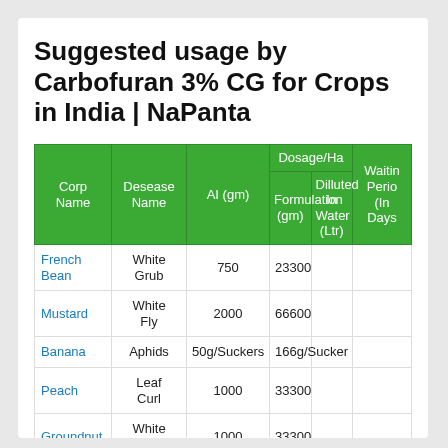Suggested usage by Carbofuran 3% CG for Crops in India | NaPanta
| Corp Name | Desease Name | AI (gm) | Formulation (gm) | Dilluted In Water (Ltr) | Waiting Period (In Days) |
| --- | --- | --- | --- | --- | --- |
| French Bean | White Grub | 750 | 23300 |  |  |
| Mustard | White Fly | 2000 | 66600 |  |  |
| Banana | Aphids | 50g/Suckers | 166g/Sucker |  |  |
| Peach | Leaf Curl | 1000 | 33300 |  |  |
| Groundnut | White Grub | 1000 | 33300 |  |  |
| French | White |  |  |  |  |